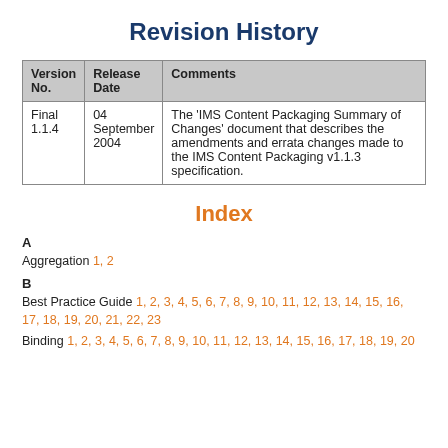Revision History
| Version No. | Release Date | Comments |
| --- | --- | --- |
| Final 1.1.4 | 04 September 2004 | The 'IMS Content Packaging Summary of Changes' document that describes the amendments and errata changes made to the IMS Content Packaging v1.1.3 specification. |
Index
A
Aggregation 1, 2
B
Best Practice Guide 1, 2, 3, 4, 5, 6, 7, 8, 9, 10, 11, 12, 13, 14, 15, 16, 17, 18, 19, 20, 21, 22, 23
Binding 1, 2, 3, 4, 5, 6, 7, 8, 9, 10, 11, 12, 13, 14, 15, 16, 17, 18, 19, 20...